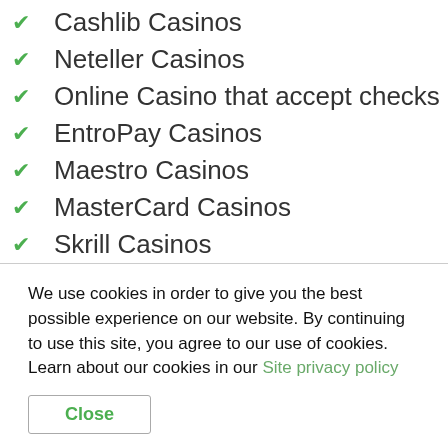Cashlib Casinos
Neteller Casinos
Online Casino that accept checks
EntroPay Casinos
Maestro Casinos
MasterCard Casinos
Skrill Casinos
PayPal Casinos
Paysafecard Casinos
Ticket Surf Casinos
Ukash Casinos
We use cookies in order to give you the best possible experience on our website. By continuing to use this site, you agree to our use of cookies. Learn about our cookies in our Site privacy policy
Close